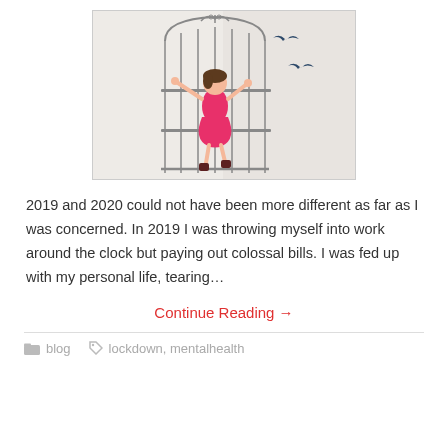[Figure (illustration): Illustration of a woman in a red dress with arms outstretched inside a decorative birdcage, with two dark birds flying free outside the cage on a light beige background.]
2019 and 2020 could not have been more different as far as I was concerned. In 2019 I was throwing myself into work around the clock but paying out colossal bills. I was fed up with my personal life, tearing…
Continue Reading →
blog   lockdown, mentalhealth